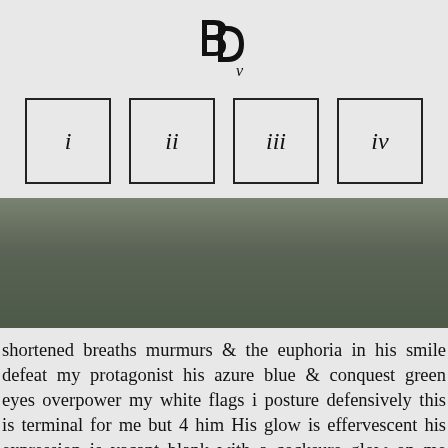[Figure (logo): Stylized monogram logo with overlapping letters B, D, and lowercase v in black]
[Figure (other): Four bordered boxes in a row containing Roman numerals: i, ii, iii, iv]
[Figure (other): Olive/dark green gradient horizontal bar spanning full width]
shortened breaths murmurs & the euphoria in his smile defeat my protagonist his azure blue & conquest green eyes overpower my white flags i posture defensively this is terminal for me but 4 him His glow is effervescent his expression is vacant blank with a cocksure glow on me splintering contentment across his face i posture aggressively i am passive & flaccid all the glistening